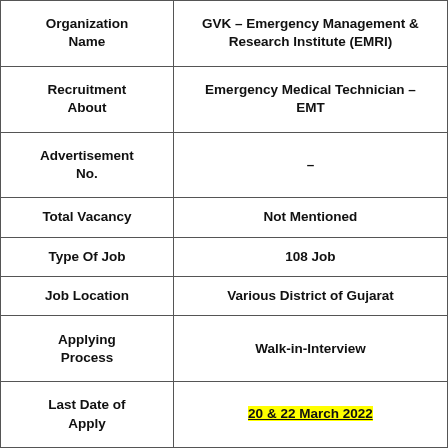| Organization Name | GVK – Emergency Management & Research Institute (EMRI) |
| --- | --- |
| Organization Name | GVK – Emergency Management & Research Institute (EMRI) |
| Recruitment About | Emergency Medical Technician – EMT |
| Advertisement No. | – |
| Total Vacancy | Not Mentioned |
| Type Of Job | 108 Job |
| Job Location | Various District of Gujarat |
| Applying Process | Walk-in-Interview |
| Last Date of Apply | 20 & 22 March 2022 |